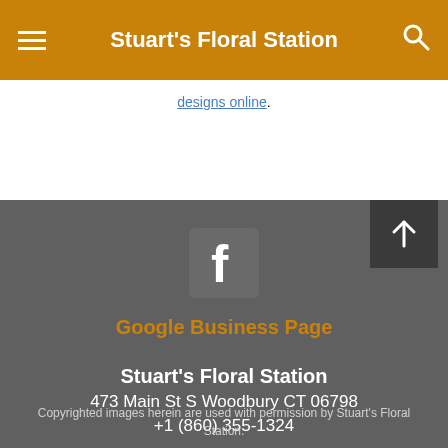Stuart's Floral Station
designs online.
[Figure (logo): Facebook logo icon — grey square background with white 'f' letter]
Google Business Page
Stuart's Floral Station
473 Main St S Woodbury CT 06798
+1 (860) 355-1324
Copyrighted images herein are used with permission by Stuart's Floral Station.